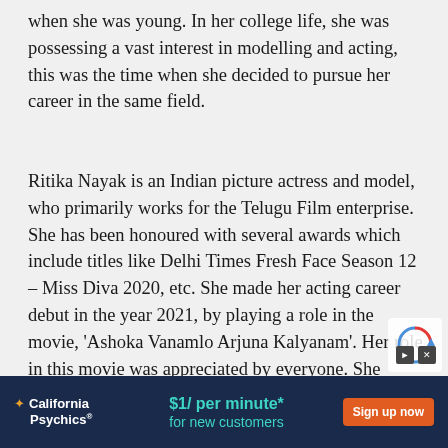when she was young. In her college life, she was possessing a vast interest in modelling and acting, this was the time when she decided to pursue her career in the same field.
Ritika Nayak is an Indian picture actress and model, who primarily works for the Telugu Film enterprise. She has been honoured with several awards which include titles like Delhi Times Fresh Face Season 12 – Miss Diva 2020, etc. She made her acting career debut in the year 2021, by playing a role in the movie, 'Ashoka Vanamlo Arjuna Kalyanam'. Her role in this movie was appreciated by everyone. She became prominent all over social media after this role.
[Figure (other): Advertisement banner for California Psychics: '$1/ per minute* for new customers' with 'Sign up now' button on dark navy background]